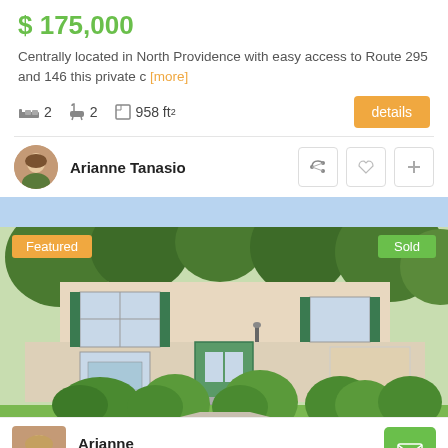$ 175,000
Centrally located in North Providence with easy access to Route 295 and 146 this private c [more]
2 beds  2 baths  958 ft²   details
Arianne Tanasio
[Figure (photo): Exterior photo of a split-level house with beige siding, green shutters, shrubs in front, and trees in background. Featured and Sold badges visible.]
Arianne Tanasio